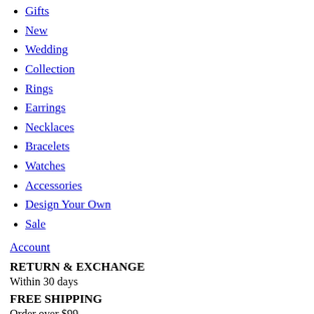Gifts
New
Wedding
Collection
Rings
Earrings
Necklaces
Bracelets
Watches
Accessories
Design Your Own
Sale
Account
RETURN & EXCHANGE
Within 30 days
FREE SHIPPING
Order over $99
ONE YEAR WARRANTY
All products included